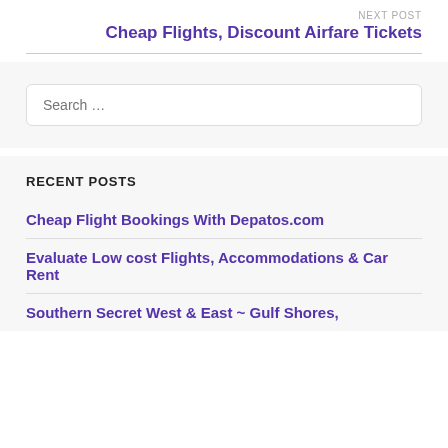NEXT POST
Cheap Flights, Discount Airfare Tickets
RECENT POSTS
Cheap Flight Bookings With Depatos.com
Evaluate Low cost Flights, Accommodations & Car Rent
Southern Secret West & East ~ Gulf Shores,